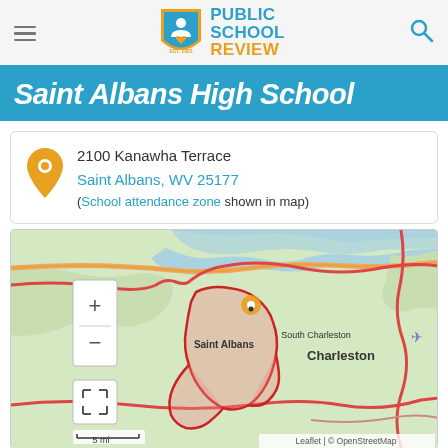Public School Review – EST. 2003
Saint Albans High School
2100 Kanawha Terrace
Saint Albans, WV 25177
(School attendance zone shown in map)
[Figure (map): Map showing school attendance zone for Saint Albans High School near Charleston, WV. The attendance zone is highlighted in pink/red outline. Map labels include Saint Albans, South Charleston, and Charleston. Scale shows 5 mi. Map attribution: Leaflet | © OpenStreetMap.]
View full size   Get directions